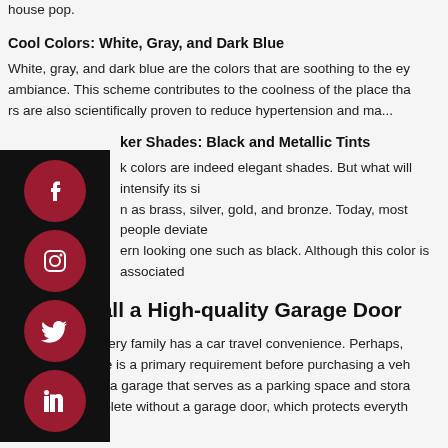creates first impressions to your visitors. Below are the five trendy colors that make your house pop.
Cool Colors: White, Gray, and Dark Blue
White, gray, and dark blue are the colors that are soothing to the eyes and create a calm ambiance. This scheme contributes to the coolness of the place that... rs are also scientifically proven to reduce hypertension and ma...
ker Shades: Black and Metallic Tints
k colors are indeed elegant shades. But what will intensify its si... n as brass, silver, gold, and bronze. Today, most people deviate... ern looking one such as black. Although this color is associated...
2. Install a High-quality Garage Door
Today, almost every family has a car travel convenience. Perhaps, ... area in the house is a primary requirement before purchasing a veh... buy a home with a garage that serves as a parking space and stora... garage is incomplete without a garage door, which protects everyth...